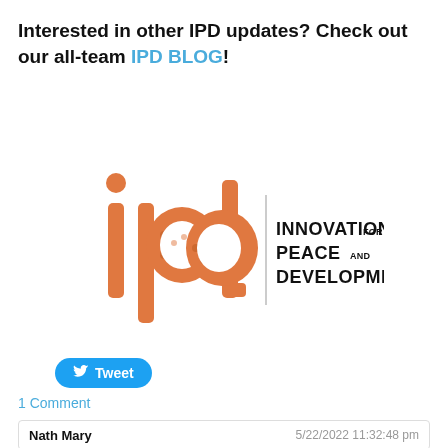Interested in other IPD updates? Check out our all-team IPD BLOG!
[Figure (logo): IPD - Innovations for Peace and Development logo. Orange stylized letters 'ipd' on the left, a vertical dividing line, and text 'INNOVATIONS FOR PEACE AND DEVELOPMENT' on the right in black.]
Tweet
1 Comment
Nath Mary    5/22/2022 11:32:48 pm